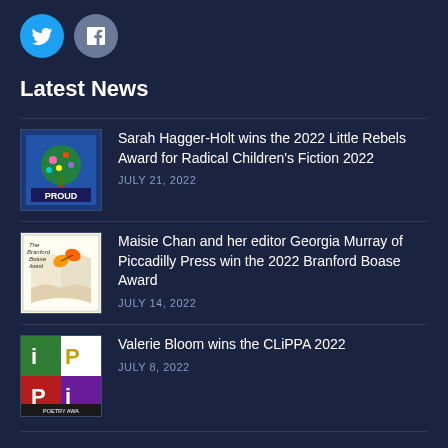[Figure (logo): Twitter and Facebook social media icons]
Latest News
[Figure (illustration): Book cover for PROUD]
Sarah Hagger-Holt wins the 2022 Little Rebels Award for Radical Children's Fiction 2022
JULY 21, 2022
[Figure (illustration): Book cover for The Branford Boase Award]
Maisie Chan and her editor Georgia Murray of Piccadilly Press win the 2022 Branford Boase Award
JULY 14, 2022
[Figure (illustration): CLiPPA Poetry Award logo/cover]
Valerie Bloom wins the CLiPPA 2022
JULY 8, 2022
Contact Us